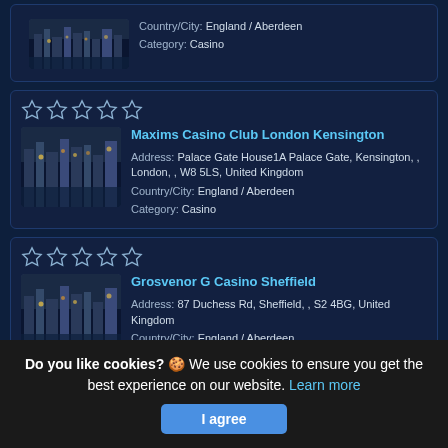[Figure (screenshot): Website listing of casino venues with star ratings, thumbnails, addresses. Partial first card visible at top, then two full cards for Maxims Casino Club London Kensington and Grosvenor G Casino Sheffield, and partial card for Grosvenor Casino Edinburgh. Cookie consent banner at bottom.]
Country/City: England / Aberdeen
Category: Casino
Maxims Casino Club London Kensington
Address: Palace Gate House1A Palace Gate, Kensington, , London, , W8 5LS, United Kingdom
Country/City: England / Aberdeen
Category: Casino
Grosvenor G Casino Sheffield
Address: 87 Duchess Rd, Sheffield, , S2 4BG, United Kingdom
Country/City: England / Aberdeen
Category: Casino
Grosvenor Casino Edinburgh
Do you like cookies? 🍪 We use cookies to ensure you get the best experience on our website. Learn more
I agree